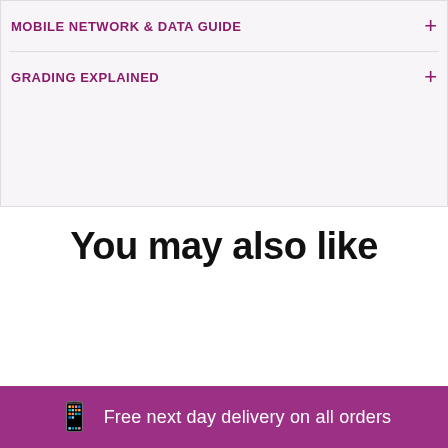MOBILE NETWORK & DATA GUIDE
GRADING EXPLAINED
You may also like
Free next day delivery on all orders